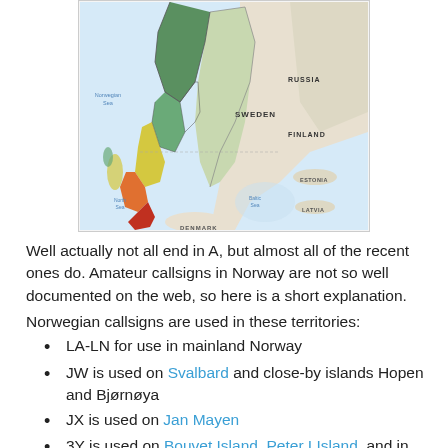[Figure (map): Map of Norway and surrounding countries including Sweden, Finland, Russia, Denmark, Estonia, Latvia, showing the Norwegian Sea and Baltic Sea. Norway is shown with colored regions (green, yellow, orange, red) representing different areas.]
Well actually not all end in A, but almost all of the recent ones do. Amateur callsigns in Norway are not so well documented on the web, so here is a short explanation.
Norwegian callsigns are used in these territories:
LA-LN for use in mainland Norway
JW is used on Svalbard and close-by islands Hopen and Bjørnøya
JX is used on Jan Mayen
3Y is used on Bouvet Island, Peter I Island, and in Antarctica (Queen Maud Land)